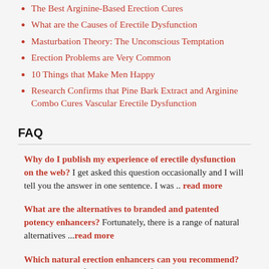The Best Arginine-Based Erection Cures
What are the Causes of Erectile Dysfunction
Masturbation Theory: The Unconscious Temptation
Erection Problems are Very Common
10 Things that Make Men Happy
Research Confirms that Pine Bark Extract and Arginine Combo Cures Vascular Erectile Dysfunction
FAQ
Why do I publish my experience of erectile dysfunction on the web? I get asked this question occasionally and I will tell you the answer in one sentence. I was .. read more
What are the alternatives to branded and patented potency enhancers? Fortunately, there is a range of natural alternatives ...read more
Which natural erection enhancers can you recommend? Synthetic drugs for ED are known for their strong